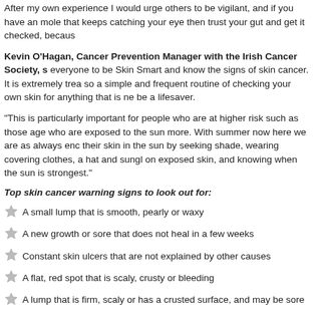After my own experience I would urge others to be vigilant, and if you have an mole that keeps catching your eye then trust your gut and get it checked, becaus
Kevin O'Hagan, Cancer Prevention Manager with the Irish Cancer Society, s everyone to be Skin Smart and know the signs of skin cancer. It is extremely trea so a simple and frequent routine of checking your own skin for anything that is ne be a lifesaver.
“This is particularly important for people who are at higher risk such as those age who are exposed to the sun more. With summer now here we are as always enc their skin in the sun by seeking shade, wearing covering clothes, a hat and sungl on exposed skin, and knowing when the sun is strongest.”
Top skin cancer warning signs to look out for:
A small lump that is smooth, pearly or waxy
A new growth or sore that does not heal in a few weeks
Constant skin ulcers that are not explained by other causes
A flat, red spot that is scaly, crusty or bleeding
A lump that is firm, scaly or has a crusted surface, and may be sore
Rough, scaly, irregular patches of skin
A new mole or a change in shape, size or colour of an existing mole
A dark patch under your nail that gets bigger and wasn't caused by an injury
People should speak to their doctor if their mole is: